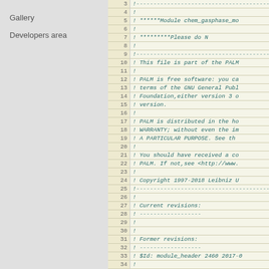Gallery
Developers area
| line | code |
| --- | --- |
| 3 | !----------------------------------------- |
| 4 | ! |
| 5 | !  ******Module chem_gasphase_mo |
| 6 | ! |
| 7 | !          *********Please do N |
| 8 | ! |
| 9 | !----------------------------------------- |
| 10 | !  This file is part of the PALM |
| 11 | ! |
| 12 | !  PALM is free software: you ca |
| 13 | !  terms of the GNU General Publ |
| 14 | !  Foundation,either version 3 o |
| 15 | !  version. |
| 16 | ! |
| 17 | !  PALM is distributed in the ho |
| 18 | !  WARRANTY; without even the im |
| 19 | !  A PARTICULAR PURPOSE.  See th |
| 20 | ! |
| 21 | !  You should have received a co |
| 22 | !  PALM. If not,see <http://www. |
| 23 | ! |
| 24 | !  Copyright 1997-2018 Leibniz U |
| 25 | !----------------------------------------- |
| 26 | ! |
| 27 | !  Current revisions: |
| 28 | !  ------------------ |
| 29 | ! |
| 30 | ! |
| 31 | !  Former revisions: |
| 32 | !  ------------------ |
| 33 | !  $Id: module_header 2460 2017-0 |
| 34 | ! |
| 35 | ! |